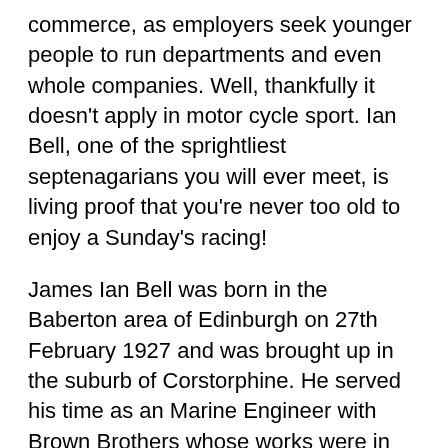commerce, as employers seek younger people to run departments and even whole companies. Well, thankfully it doesn't apply in motor cycle sport. Ian Bell, one of the sprightliest septenagarians you will ever meet, is living proof that you're never too old to enjoy a Sunday's racing!
James Ian Bell was born in the Baberton area of Edinburgh on 27th February 1927 and was brought up in the suburb of Corstorphine. He served his time as an Marine Engineer with Brown Brothers whose works were in Pilrig Street close to Leith docks.
Trials first....
Ian developed an early passion for motorbikes and whilst his Father never competed, he owned a road machine for a while thus encouraging Bell junior. Ian's first bike was a 1932 250cc BSA Blue Star in 1945 which, having